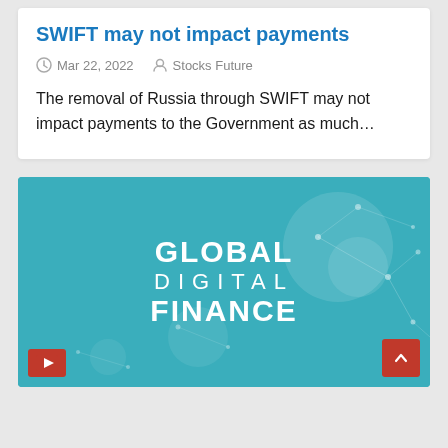SWIFT may not impact payments
Mar 22, 2022   Stocks Future
The removal of Russia through SWIFT may not impact payments to the Government as much...
[Figure (illustration): Global Digital Finance logo/banner on teal background with network dots and lines pattern]